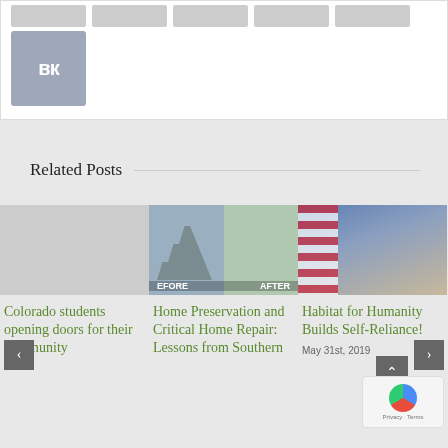[Figure (screenshot): Social share buttons row with VK button below]
Related Posts
[Figure (photo): Blank/placeholder card image for first related post]
Colorado students opening doors for their community
[Figure (photo): Before and after photo of home repair - stairs with tarp]
Home Preservation and Critical Home Repair: Lessons from Southern
[Figure (photo): Family photo with American flag in background]
Habitat for Humanity Builds Self-Reliance!
May 31st, 2019